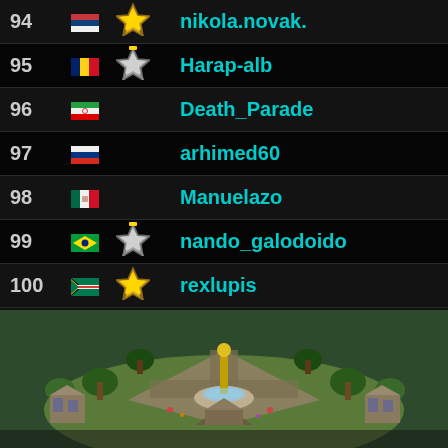| Rank | Flag | Medal | Username |
| --- | --- | --- | --- |
| 94 | 🇷🇸 | gold | nikola.novak. |
| 95 | 🇷🇴 | silver | Harap-alb |
| 96 | 🇮🇷 |  | Death_Parade |
| 97 | 🇷🇺 |  | arhimed60 |
| 98 | 🇲🇽 |  | Manuelazo |
| 99 | 🇧🇷 | silver | nando_galodoido |
| 100 | 🇿🇦 | gold | rexlupis |
[Figure (screenshot): Isometric strategy game city view with buildings, trees, fountain, and a golden statue in the center]